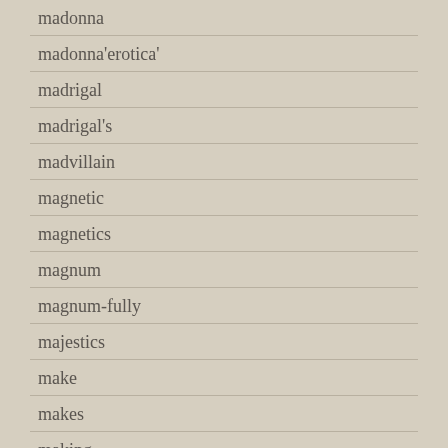madonna
madonna'erotica'
madrigal
madrigal's
madvillain
magnetic
magnetics
magnum
magnum-fully
majestics
make
makes
making
makoto
mamie
mana